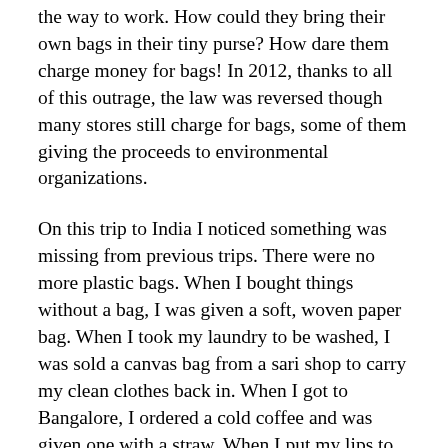the way to work. How could they bring their own bags in their tiny purse? How dare them charge money for bags! In 2012, thanks to all of this outrage, the law was reversed though many stores still charge for bags, some of them giving the proceeds to environmental organizations.
On this trip to India I noticed something was missing from previous trips. There were no more plastic bags. When I bought things without a bag, I was given a soft, woven paper bag. When I took my laundry to be washed, I was sold a canvas bag from a sari shop to carry my clean clothes back in. When I got to Bangalore, I ordered a cold coffee and was given one with a straw. When I put my lips to the straw I noticed it was made of paper. Other drinks I ordered there had the same paper straws. Sure there were plastic bottles for drinks but the amount of plastic was so little that I even felt self-conscious